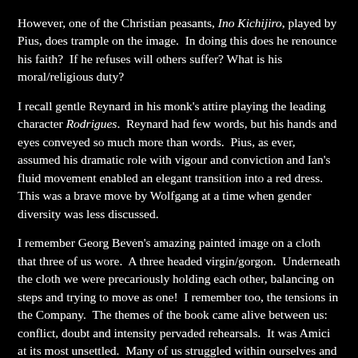However, one of the Christian peasants, Ino Kichijiro, played by Pius, does trample on the image.  In doing this does he renounce his faith?  If he refuses will others suffer? What is his moral/religious duty?
I recall gentle Reynard in his monk's attire playing the leading character Rodrigues.  Reynard had few words, but his hands and eyes conveyed so much more than words.  Pius, as ever, assumed his dramatic role with vigour and conviction and Ian's fluid movement enabled an elegant transition into a red dress.  This was a brave move by Wolfgang at a time when gender diversity was less discussed.
I remember Georg Beven's amazing painted image on a cloth that three of us wore.  A three headed virgin/gorgon.  Underneath the cloth we were precariously holding each other, balancing on steps and trying to move as one!  I remember too, the tensions in the Company.  The themes of the book came alive between us: conflict, doubt and intensity pervaded rehearsals.  It was Amici at its most unsettled.  Many of us struggled within ourselves and with each other.  But the connections between Amici members were stronger than the disruptive forces.  SILENCE was one of